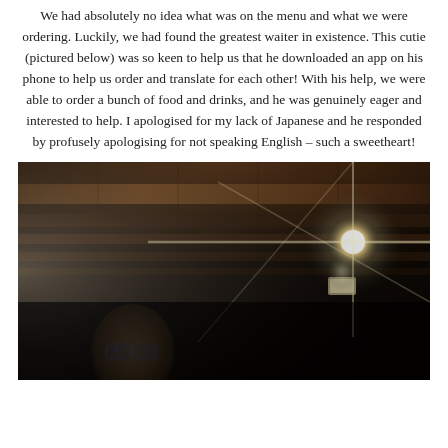We had absolutely no idea what was on the menu and what we were ordering. Luckily, we had found the greatest waiter in existence. This cutie (pictured below) was so keen to help us that he downloaded an app on his phone to help us order and translate for each other! With his help, we were able to order a bunch of food and drinks, and he was genuinely eager and interested to help. I apologised for my lack of Japanese and he responded by profusely apologising for not speaking English – such a sweetheart!
[Figure (photo): Dark indoor restaurant photo showing wooden ceiling beams and a bright light flare in the upper right area, with a person (the waiter with glasses) visible in the lower portion of the frame.]